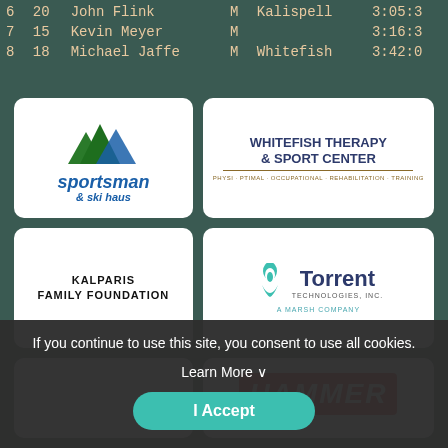| Place | Bib | Name | Gender | City | Time |
| --- | --- | --- | --- | --- | --- |
| 6 | 20 | John Flink | M | Kalispell | 3:05:3 |
| 7 | 15 | Kevin Meyer | M |  | 3:16:3 |
| 8 | 18 | Michael Jaffe | M | Whitefish | 3:42:0 |
[Figure (logo): Sportsman & Ski Haus logo with mountain peaks in green and blue, italic blue text]
[Figure (logo): Whitefish Therapy & Sport Center logo with dark blue serif text and gold underline]
[Figure (logo): Kalparis Family Foundation text logo in black uppercase letters]
[Figure (logo): Torrent Technologies Inc logo with teal water drop icon and dark blue bold text, A Marsh Company subtitle]
[Figure (logo): Empty white sponsor card]
[Figure (logo): Hammer logo partially visible, red background with white italic text]
If you continue to use this site, you consent to use all cookies.
Learn More
I Accept